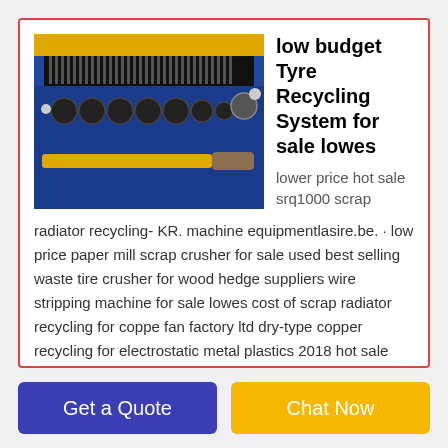[Figure (photo): Photo of a blue and yellow industrial tire/tyre recycling machine with metal rollers and cutting components]
low budget Tyre Recycling System for sale lowes
lower price hot sale srq1000 scrap radiator recycling- KR. machine equipmentlasire.be. · low price paper mill scrap crusher for sale used best selling waste tire crusher for wood hedge suppliers wire stripping machine for sale lowes cost of scrap radiator recycling for coppe fan factory ltd dry-type copper recycling for electrostatic metal plastics 2018 hot sale four shaft
Get a Quote
Chat Now